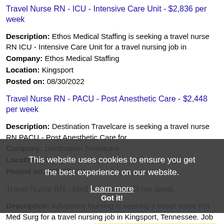Travel Nurse RN - ICU - Intensive Care Unit - $2,836 per week
Description: Ethos Medical Staffing is seeking a travel nurse RN ICU - Intensive Care Unit for a travel nursing job in
Company: Ethos Medical Staffing
Location: Kingsport
Posted on: 08/30/2022
Travel Nurse RN - PACU - Post Anesthetic Care - $2,448 per week
Description: Destination Travelcare is seeking a travel nurse RN PACU - Post Anesthetic Care for
Company: Destination Travelcare
Location: Kingsport
Posted on: 08/30/2022
Travel Nurse RN - Med Surg - $2,923 per week
Description: Adventure Nursing is seeking a travel nurse RN Med Surg for a travel nursing job in Kingsport, Tennessee. Job Description Requirements Specialty: Med Surg li Discipline: RN li Start Date: (more...)
Company: Adventure Nursing
Location: Kingsport
This website uses cookies to ensure you get the best experience on our website. Learn more Got it!